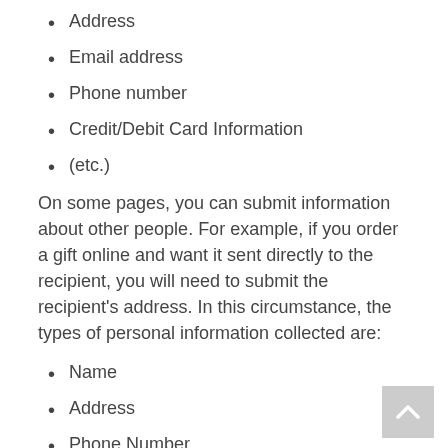Address
Email address
Phone number
Credit/Debit Card Information
(etc.)
On some pages, you can submit information about other people. For example, if you order a gift online and want it sent directly to the recipient, you will need to submit the recipient’s address. In this circumstance, the types of personal information collected are:
Name
Address
Phone Number
(etc.)
The Way We Use Information